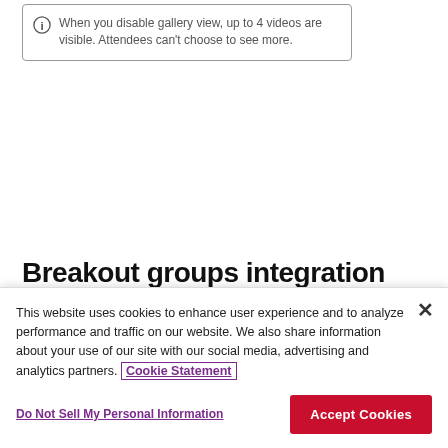When you disable gallery view, up to 4 videos are visible. Attendees can't choose to see more.
Breakout groups integration with
This website uses cookies to enhance user experience and to analyze performance and traffic on our website. We also share information about your use of our site with our social media, advertising and analytics partners. Cookie Statement
Do Not Sell My Personal Information
Accept Cookies